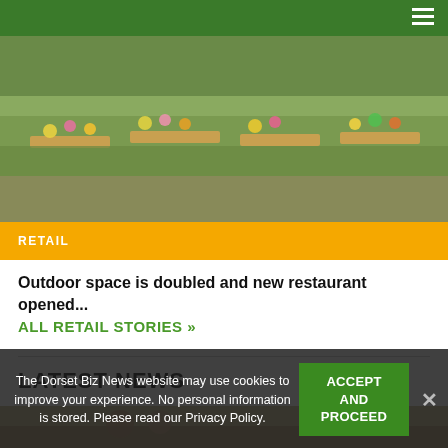[Figure (photo): Garden centre outdoor area with plants, flowers in pots and wooden display stands]
RETAIL
Outdoor space is doubled and new restaurant opened...
ALL RETAIL STORIES »
LATEST NEWS
[Figure (photo): Partial photo visible at bottom of page, appears to show people]
The Dorset Biz News website may use cookies to improve your experience. No personal information is stored. Please read our Privacy Policy.
ACCEPT AND PROCEED